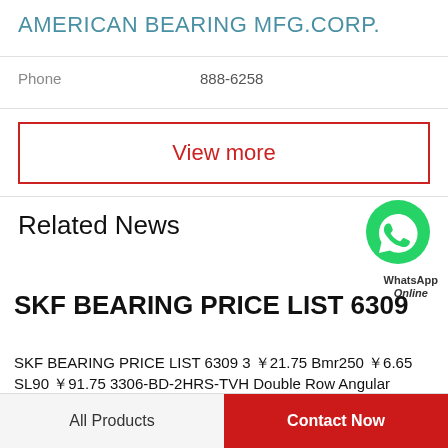AMERICAN BEARING MFG.CORP.
Phone    888-6258
View more
Related News
[Figure (logo): WhatsApp green phone icon with WhatsApp Online text]
SKF BEARING PRICE LIST 6309
SKF BEARING PRICE LIST 6309 3 ￥21.75 Bmr250 ￥6.65 SL90 ￥91.75 3306-BD-2HRS-TVH Double Row Angular Contact Ball Bearing 30x72x30.2mm ￥108.47 0735.300.645 / 0735300645 Automotive Angular Contact Ball Bearing...
All Products    Contact Now